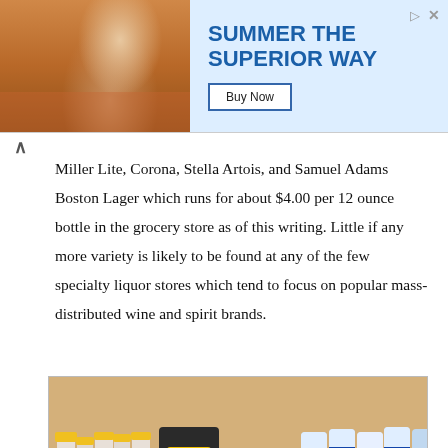[Figure (photo): Advertisement banner: photo of person at outdoor setting on left, text 'SUMMER THE SUPERIOR WAY' in blue on light blue background with 'Buy Now' button on right.]
Miller Lite, Corona, Stella Artois, and Samuel Adams Boston Lager which runs for about $4.00 per 12 ounce bottle in the grocery store as of this writing. Little if any more variety is likely to be found at any of the few specialty liquor stores which tend to focus on popular mass-distributed wine and spirit brands.
[Figure (photo): Photo of liquor store shelves stocked with various bottles, cans including Miller Lite cans, energy drinks, and bottles of spirits on upper shelf, and dark bottles on lower shelf.]